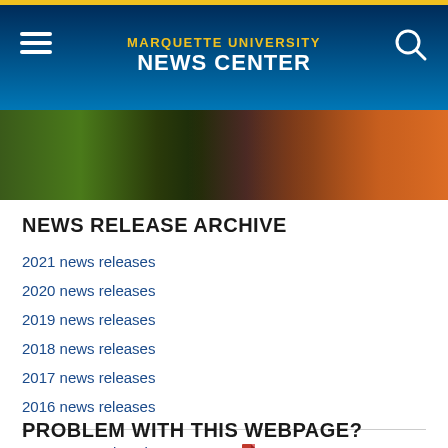MARQUETTE UNIVERSITY NEWS CENTER
[Figure (photo): Highway/road scene at night with light trails and green fields, wide angle view]
NEWS RELEASE ARCHIVE
2021 news releases
2020 news releases
2019 news releases
2018 news releases
2017 news releases
2016 news releases
Marquette University Fast Facts 📄
PROBLEM WITH THIS WEBPAGE?